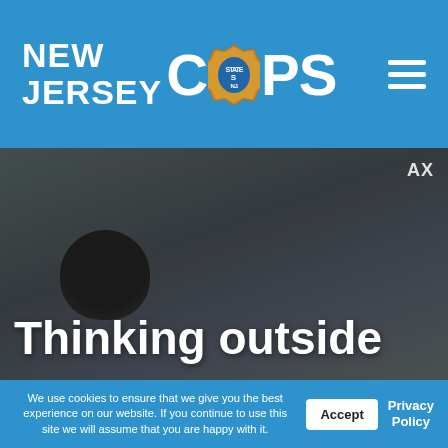NEW JERSEY COPS
[Figure (photo): Dark outdoor photo of a person (police officer) viewed from behind wearing a dark rounded helmet/cap, with trees and sky visible in the background. 'AX' text overlay visible in upper right corner.]
Thinking outside
We use cookies to ensure that we give you the best experience on our website. If you continue to use this site we will assume that you are happy with it.
Accept
Privacy Policy